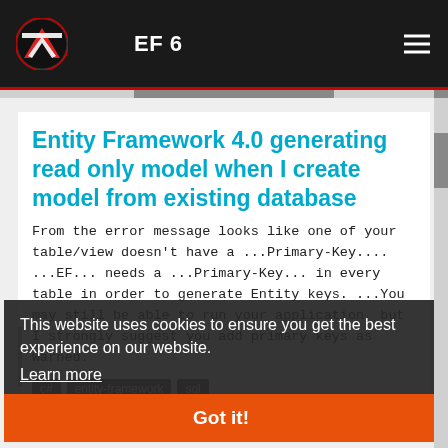EF 6
Entity Framework 4.0 generating read only model when I create model from existing database
From the error message looks like one of your table/view doesn't have a ...Primary-Key.... ...EF... needs a ...Primary-Key... in every table in order to generate Entity keys. ...You may still be able to run your application, but I strongly suggest you add primary keys as warned.
c# entity-framework sql
asked by HOKBONG
This website uses cookies to ensure you get the best experience on our website. Learn more Got it!
Change entity framework databa